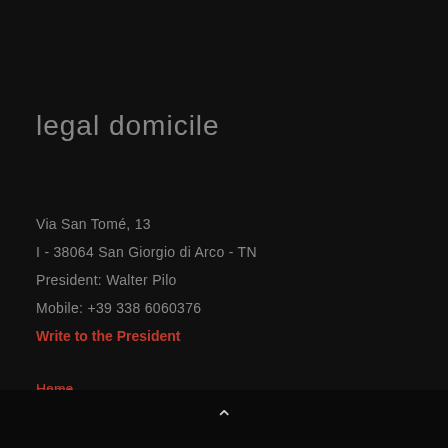legal domicile
Via San Tomé, 13
I - 38064 San Giorgio di Arco - TN
President: Walter Pilo
Mobile: +39 338 6060376
Write to the President
Home
About Us
The Project
Collaborate
News
Contacts
Privacy Policy
[Figure (other): Facebook badge on right side]
^